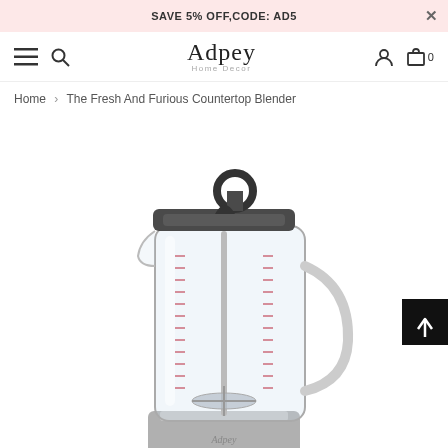SAVE 5% OFF,CODE: AD5
[Figure (logo): Adpey Home Decor brand logo with serif text and small subtitle]
Home > The Fresh And Furious Countertop Blender
[Figure (photo): Product photo of The Fresh And Furious Countertop Blender — a glass blender jar with measurement markings on a silver motor base, with a dark lid featuring a handle ring, and a clear handle on the side]